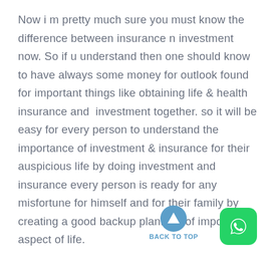Now i m pretty much sure you must know the difference between insurance n investment now. So if u understand then one should know to have always some money for outlook found for important things like obtaining life & health insurance and  investment together. so it will be easy for every person to understand the importance of investment & insurance for their auspicious life by doing investment and insurance every person is ready for any misfortune for himself and for their family by creating a good backup planning of important aspect of life.
[Figure (other): Back to top button: a teal/blue circle with an upward-pointing triangle arrow, with text 'BACK TO TOP' below it, and a WhatsApp green icon button to the right]